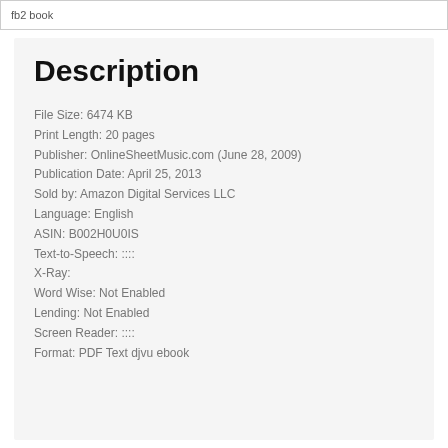fb2 book
Description
File Size: 6474 KB
Print Length: 20 pages
Publisher: OnlineSheetMusic.com (June 28, 2009)
Publication Date: April 25, 2013
Sold by: Amazon Digital Services LLC
Language: English
ASIN: B002H0U0IS
Text-to-Speech: ::::
X-Ray:
Word Wise: Not Enabled
Lending: Not Enabled
Screen Reader: ::::
Format: PDF Text djvu ebook